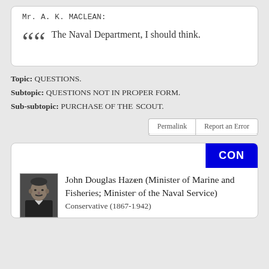Mr. A. K. MACLEAN: The Naval Department, I should think.
Topic: QUESTIONS. Subtopic: QUESTIONS NOT IN PROPER FORM. Sub-subtopic: PURCHASE OF THE SCOUT.
CON
[Figure (photo): Black and white portrait photograph of John Douglas Hazen]
John Douglas Hazen (Minister of Marine and Fisheries; Minister of the Naval Service) Conservative (1867-1942)